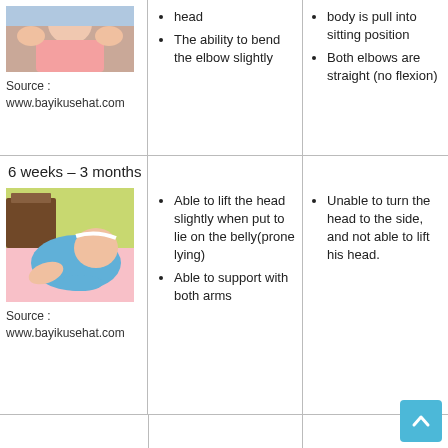[Figure (photo): Baby being held upright by adult hands, wearing pink clothing]
Source :
www.bayikusehat.com
head
The ability to bend the elbow slightly
body is pull into sitting position
Both elbows are straight (no flexion)
6 weeks – 3 months
[Figure (photo): Baby doing tummy time on a pink surface, wearing blue outfit with white headband]
Source :
www.bayikusehat.com
Able to lift the head slightly when put to lie on the belly(prone lying)
Able to support with both arms
Unable to turn the head to the side, and not able to lift his head.